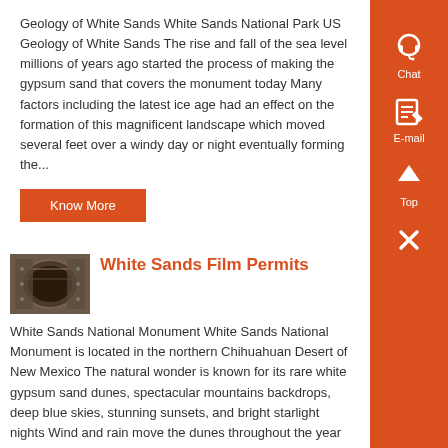Geology of White Sands White Sands National Park US Geology of White Sands The rise and fall of the sea level millions of years ago started the process of making the gypsum sand that covers the monument today Many factors including the latest ice age had an effect on the formation of this magnificent landscape which moved several feet over a windy day or night eventually forming the...
Know More
[Figure (photo): Industrial photograph showing large cylindrical metal structure or pipeline]
White Sands Film Permits
White Sands National Monument White Sands National Monument is located in the northern Chihuahuan Desert of New Mexico The natural wonder is known for its rare white gypsum sand dunes, spectacular mountains backdrops, deep blue skies, stunning sunsets, and bright starlight nights Wind and rain move the dunes throughout the year For nature photographers, White Sands National ,...
Know More